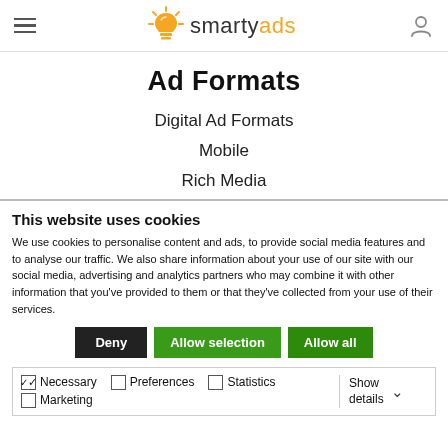SmartyAds - Ad Formats
Ad Formats
Digital Ad Formats
Mobile
Rich Media
This website uses cookies
We use cookies to personalise content and ads, to provide social media features and to analyse our traffic. We also share information about your use of our site with our social media, advertising and analytics partners who may combine it with other information that you've provided to them or that they've collected from your use of their services.
Deny | Allow selection | Allow all
Necessary  Preferences  Statistics  Marketing  Show details